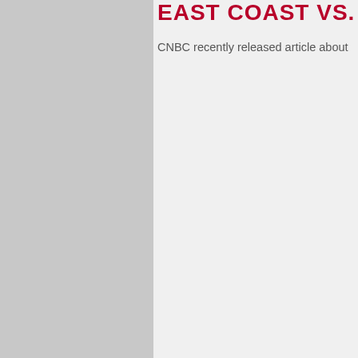EAST COAST VS. W...
CNBC recently released article about
[Figure (photo): Image placeholder on left side]
DEFINING YOUR PROGRAMMING BRAND
You may hear Group Member's from Pulse Group talk about “defining your brand”, but brand is something different for everyone.... Read More
RESOLUTIONS & RH...